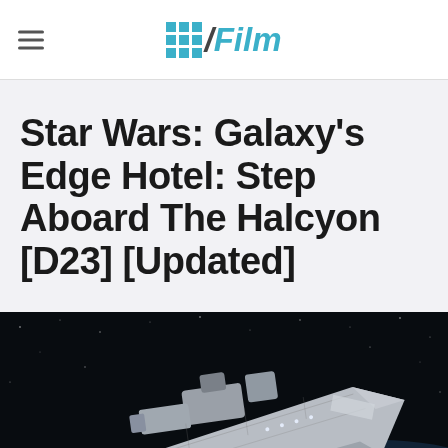/Film
Star Wars: Galaxy's Edge Hotel: Step Aboard The Halcyon [D23] [Updated]
[Figure (photo): A large Star Wars-style spacecraft (the Halcyon starcruiser) against a dark space background with stars, rendered in CGI. The ship is white/grey and detailed, shown from a three-quarter front angle.]